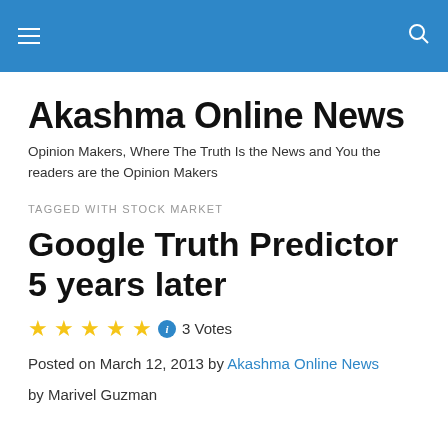Akashma Online News — navigation bar with hamburger menu and search icon
Akashma Online News
Opinion Makers, Where The Truth Is the News and You the readers are the Opinion Makers
TAGGED WITH STOCK MARKET
Google Truth Predictor 5 years later
3 Votes
Posted on March 12, 2013 by Akashma Online News
by Marivel Guzman